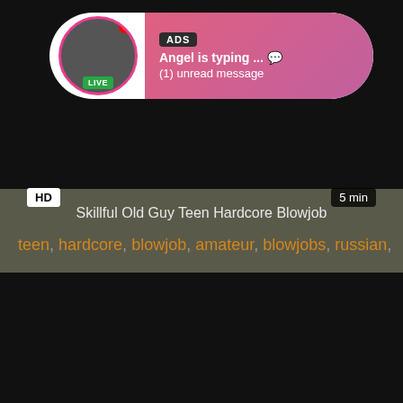[Figure (screenshot): Video player area showing dark/black video content with an ad notification overlay bubble at top, HD badge bottom-left, 5 min duration badge bottom-right]
Skillful Old Guy Teen Hardcore Blowjob
teen, hardcore, blowjob, amateur, blowjobs, russian, roug...
[Figure (screenshot): Second dark video thumbnail area]